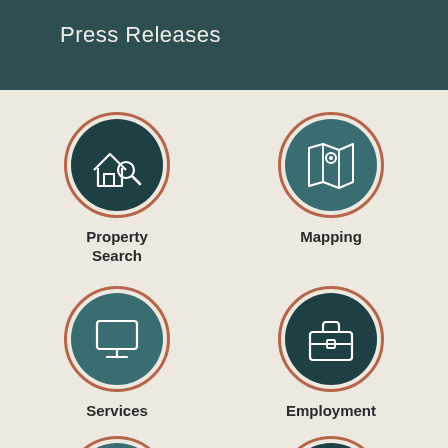Press Releases
[Figure (infographic): Four circular icon buttons arranged in a 2x2 grid on a beige background. Top-left: dark teal circle with a house+magnifying glass icon labeled 'Property Search'. Top-right: medium teal circle with a map+pin icon labeled 'Mapping'. Bottom-left: medium teal circle with a monitor/screen icon labeled 'Services'. Bottom-right: dark teal circle with a briefcase icon labeled 'Employment'. Two more partial circles are visible at the very bottom.]